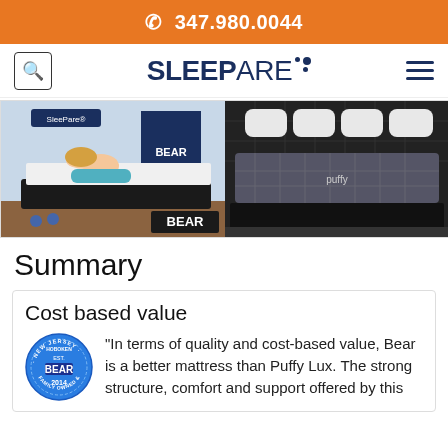📞 347.980.0044
[Figure (logo): SleepAre logo with search icon and hamburger menu]
[Figure (photo): Side-by-side product photos: left shows a woman lying on a Bear mattress with Bear branding; right shows a Puffy Lux mattress in a bedroom setting]
Summary
Cost based value
"In terms of quality and cost-based value, Bear is a better mattress than Puffy Lux. The strong structure, comfort and support offered by this